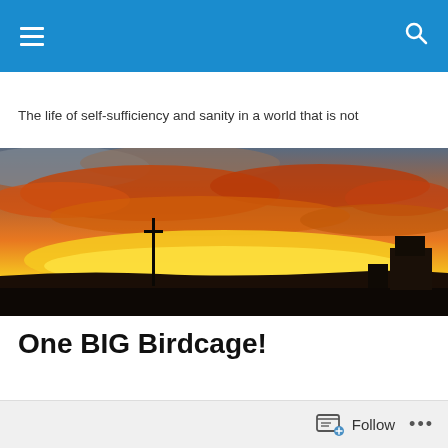Navigation header with hamburger menu and search icon
The life of self-sufficiency and sanity in a world that is not
[Figure (photo): Panoramic sunset photo showing dramatic orange and red clouds over a dark flat horizon with a utility pole and a grain elevator silhouetted against the glowing sky]
One BIG Birdcage!
Follow ...